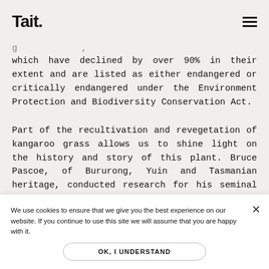Tait.
which have declined by over 90% in their extent and are listed as either endangered or critically endangered under the Environment Protection and Biodiversity Conservation Act.
Part of the recultivation and revegetation of kangaroo grass allows us to shine light on the history and story of this plant. Bruce Pascoe, of Bururong, Yuin and Tasmanian heritage, conducted research for his seminal book ‘Dark Emu’ published in 2014, that showed the harvesting of grain in kangaroo grass was made into flour to make bread and porridge. This grain was especially important in arid areas and is a process that dates back at least 30,000 years, with grinding stones found in
We use cookies to ensure that we give you the best experience on our website. If you continue to use this site we will assume that you are happy with it.
OK, I UNDERSTAND